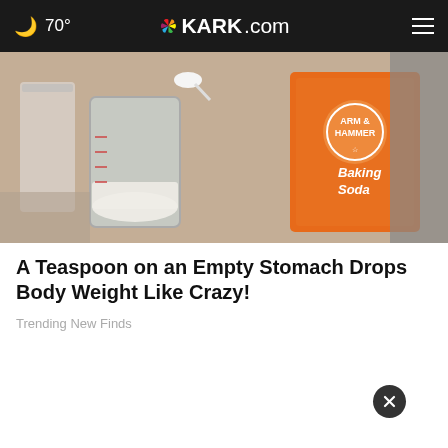70° KARK.com
[Figure (photo): Hands pouring baking soda from an Arm & Hammer box into a glass jar with measuring cups nearby]
A Teaspoon on an Empty Stomach Drops Body Weight Like Crazy!
Trending New Finds
[Figure (photo): Person lying down with a white towel on their head and a face mask applied, eyes closed, with a close button overlay]